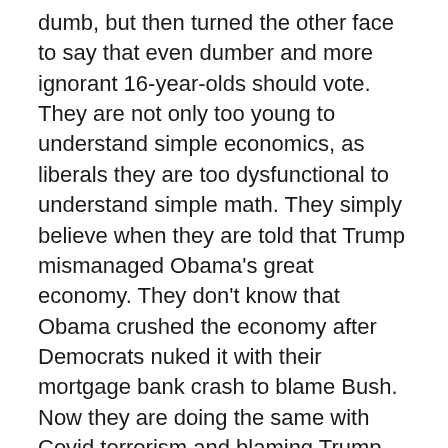dumb, but then turned the other face to say that even dumber and more ignorant 16-year-olds should vote. They are not only too young to understand simple economics, as liberals they are too dysfunctional to understand simple math. They simply believe when they are told that Trump mismanaged Obama's great economy. They don't know that Obama crushed the economy after Democrats nuked it with their mortgage bank crash to blame Bush. Now they are doing the same with Covid terrorism and blaming Trump.
Democrats are doing their utmost to crush patriotism in America through sports. They have banned anything that inspires patriotism because such feelings inevitably lead to the Republican Party. Democrats are not what they have always pretended to be – watching out for the little guy against monstrous rich people. They are the ultra-rich